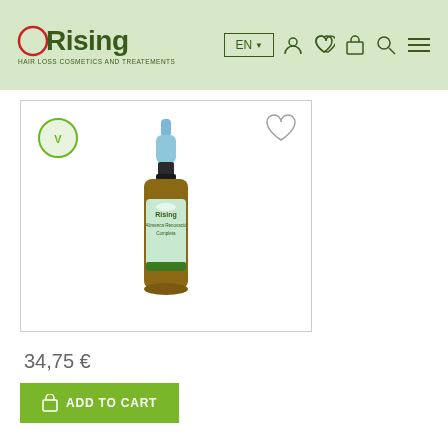[Figure (logo): ORising logo with red circle O and green text, tagline HAIR LOSS COSMETICS AND TREATEMENTS]
[Figure (screenshot): Product page showing a dropper bottle of ORising hair treatment serum with vegan badge, heart/wishlist icon, price 34,75 € and Add to Cart button]
34,75 €
ADD TO CART
SPECIALS